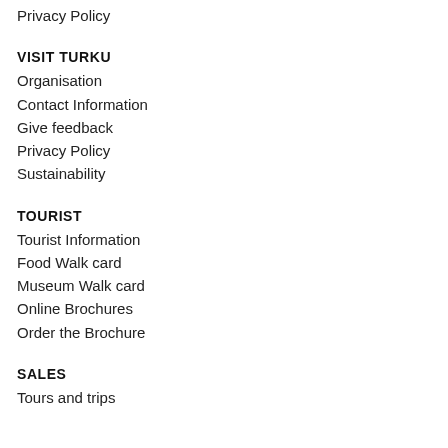Privacy Policy
VISIT TURKU
Organisation
Contact Information
Give feedback
Privacy Policy
Sustainability
TOURIST
Tourist Information
Food Walk card
Museum Walk card
Online Brochures
Order the Brochure
SALES
Tours and trips